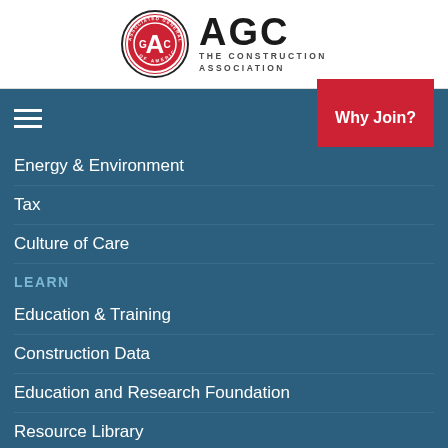[Figure (logo): AGC Associated General Contractors of America logo with circular badge and AGC THE CONSTRUCTION ASSOCIATION text]
Navigation bar with hamburger menu and Why Join? button
Energy & Environment
Tax
Culture of Care
LEARN
Education & Training
Construction Data
Education and Research Foundation
Resource Library
NEWS
News Releases
AGC News